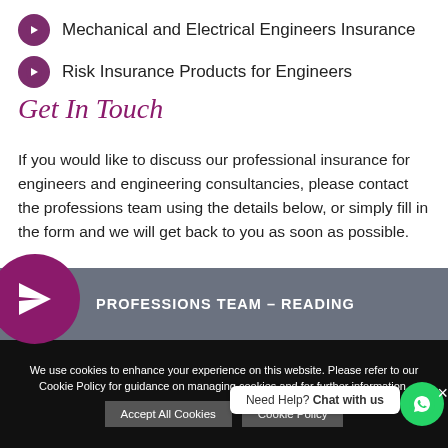Mechanical and Electrical Engineers Insurance
Risk Insurance Products for Engineers
Get In Touch
If you would like to discuss our professional insurance for engineers and engineering consultancies, please contact the professions team using the details below, or simply fill in the form and we will get back to you as soon as possible.
PROFESSIONS TEAM – READING
We use cookies to enhance your experience on this website. Please refer to our Cookie Policy for guidance on managing cookies and for further information.
Need Help? Chat with us
Accept All Cookies
Cookie Policy